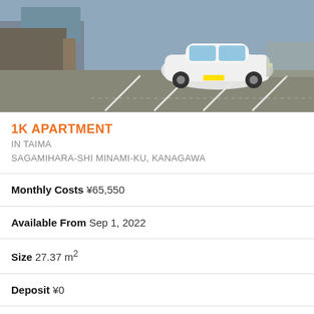[Figure (photo): Parking lot with a white compact car parked, viewed from an angle showing parking spaces and a wall/fence on the left side]
1K APARTMENT
IN TAIMA
SAGAMIHARA-SHI MINAMI-KU, KANAGAWA
Monthly Costs ¥65,550
Available From Sep 1, 2022
Size 27.37 m²
Deposit ¥0
Key Money ¥0
Floor 1 / 2F